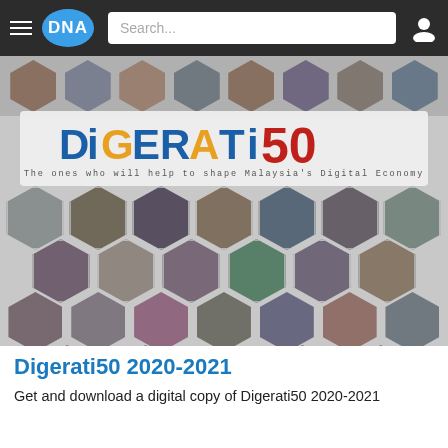DNA — Search...
[Figure (photo): Digerati50 2020-2021 promotional banner showing a honeycomb grid of 25+ portraits of Malaysian digital economy leaders, with the Digerati50 logo and tagline 'The ones who will help to shape Malaysia's Digital Economy']
Digerati50 2020-2021
Get and download a digital copy of Digerati50 2020-2021